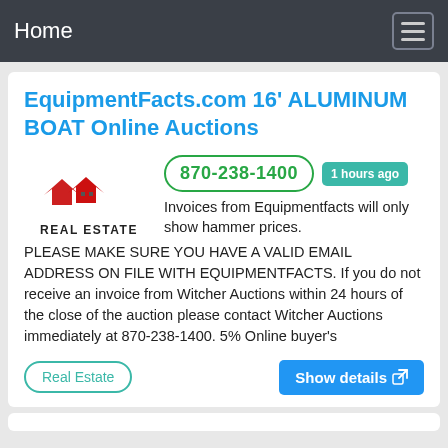Home
EquipmentFacts.com 16' ALUMINUM BOAT Online Auctions
[Figure (logo): Real Estate logo with red house/chevron icon and text REAL ESTATE]
870-238-1400
1 hours ago
Invoices from Equipmentfacts will only show hammer prices. PLEASE MAKE SURE YOU HAVE A VALID EMAIL ADDRESS ON FILE WITH EQUIPMENTFACTS. If you do not receive an invoice from Witcher Auctions within 24 hours of the close of the auction please contact Witcher Auctions immediately at 870-238-1400. 5% Online buyer's
Real Estate
Show details